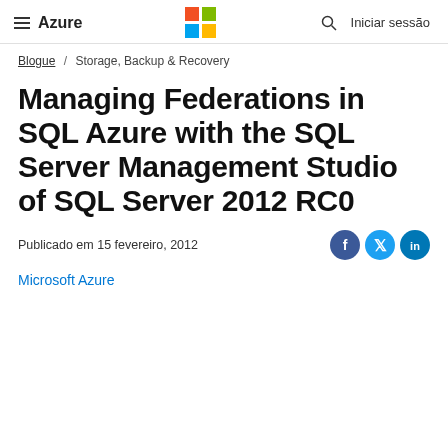≡ Azure  [Microsoft logo]  🔍  Iniciar sessão
Blogue / Storage, Backup & Recovery
Managing Federations in SQL Azure with the SQL Server Management Studio of SQL Server 2012 RC0
Publicado em 15 fevereiro, 2012
Microsoft Azure